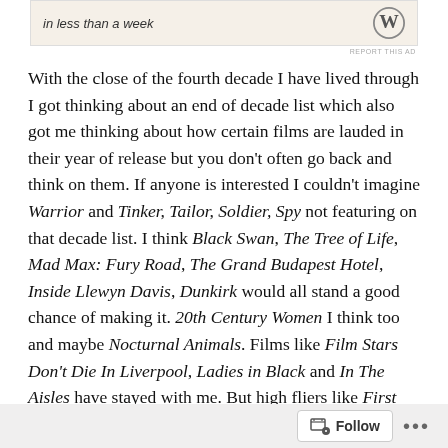[Figure (other): Advertisement banner with beige background showing text 'in less than a week' and WordPress logo]
REPORT THIS AD
With the close of the fourth decade I have lived through I got thinking about an end of decade list which also got me thinking about how certain films are lauded in their year of release but you don't often go back and think on them. If anyone is interested I couldn't imagine Warrior and Tinker, Tailor, Soldier, Spy not featuring on that decade list. I think Black Swan, The Tree of Life, Mad Max: Fury Road, The Grand Budapest Hotel, Inside Llewyn Davis, Dunkirk would all stand a good chance of making it. 20th Century Women I think too and maybe Nocturnal Animals. Films like Film Stars Don't Die In Liverpool, Ladies in Black and In The Aisles have stayed with me. But high fliers like First Man, In This Corner of the World, Farida the Sea, A Star Is Born…
[Figure (other): Footer bar with Follow button and ellipsis menu]